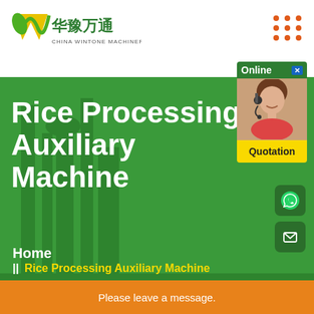[Figure (logo): China Wintone Machinery logo with green leaf and yellow/green W shape, Chinese characters 华豫万通]
[Figure (illustration): Orange/red grid of 9 dots (3x3) in top right corner]
[Figure (illustration): Online chat widget with green Online bar, close X, photo of woman with headset, and yellow Quotation button]
[Figure (photo): Green-tinted background photo of rice processing machinery]
Rice Processing Auxiliary Machine
[Figure (illustration): WhatsApp icon - white phone handset on dark green rounded square]
[Figure (illustration): Email icon - white envelope on dark green rounded square]
Home
|| Rice Processing Auxiliary Machine
Please leave a message.